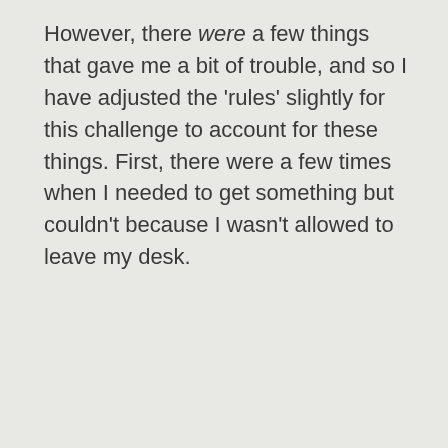However, there were a few things that gave me a bit of trouble, and so I have adjusted the 'rules' slightly for this challenge to account for these things. First, there were a few times when I needed to get something but couldn't because I wasn't allowed to leave my desk.